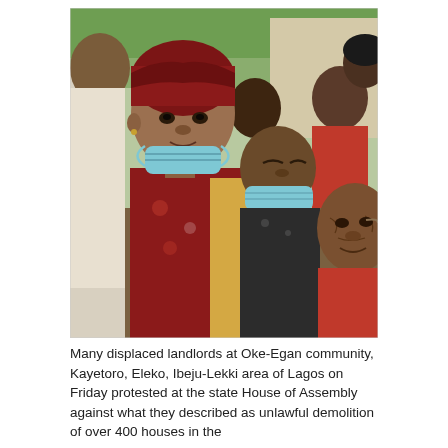[Figure (photo): Group of women outdoors, some wearing face masks pulled down below their chins. The central woman wears a dark red/maroon headwrap and patterned dress, with a blue surgical mask around her neck. Behind her are two older women also wearing blue surgical masks. The setting appears to be a public gathering outdoors.]
Many displaced landlords at Oke-Egan community, Kayetoro, Eleko, Ibeju-Lekki area of Lagos on Friday protested at the state House of Assembly against what they described as unlawful demolition of over 400 houses in the